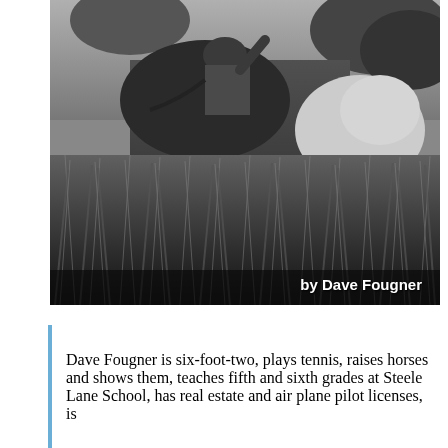[Figure (photo): Black and white photograph of a rider on horseback in a field of tall grass and wildflowers. The rider appears to be waving or raising their arm. A white horse is also partially visible. Text overlay at bottom right reads 'by Dave Fougner' in bold white lettering.]
Dave Fougner is six-foot-two, plays tennis, raises horses and shows them, teaches fifth and sixth grades at Steele Lane School, has real estate and air plane pilot licenses, is